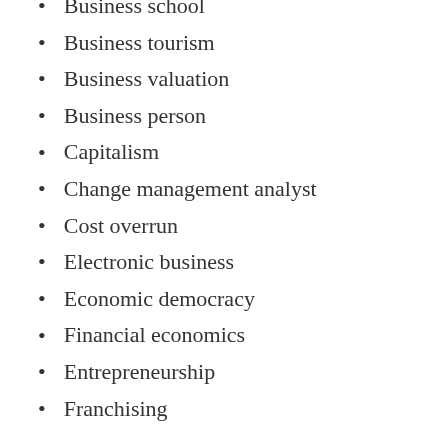Business school
Business tourism
Business valuation
Business person
Capitalism
Change management analyst
Cost overrun
Electronic business
Economic democracy
Financial economics
Entrepreneurship
Franchising